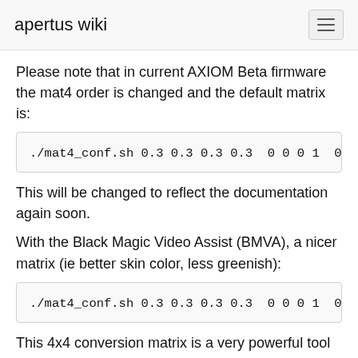apertus wiki
Please note that in current AXIOM Beta firmware the mat4 order is changed and the default matrix is:
./mat4_conf.sh 0.3 0.3 0.3 0.3  0 0 0 1  0 0.42
This will be changed to reflect the documentation again soon.
With the Black Magic Video Assist (BMVA), a nicer matrix (ie better skin color, less greenish):
./mat4_conf.sh 0.3 0.3 0.3 0.3  0 0 0 1  0 0.30 0
This 4x4 conversion matrix is a very powerful tool and allows to do things like mixing color channels, reassigning channels, applying effects or doing white balancing